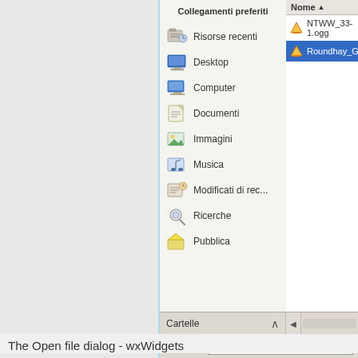[Figure (screenshot): Windows file open dialog (wxWidgets) showing 'Collegamenti preferiti' (favorite links) panel on the left with items: Risorse recenti, Desktop, Computer, Documenti, Immagini, Musica, Modificati di rec..., Ricerche, Pubblica. A 'Cartelle' collapsible section at bottom. Right pane shows file list with header 'Nome' and two files: NTWW_33-1.ogg and Roundhay_Garden_Sce... (selected). Bottom bar shows 'Nome file:' with value 'Rounddhay_Garden_S'.]
The Open file dialog - wxWidgets